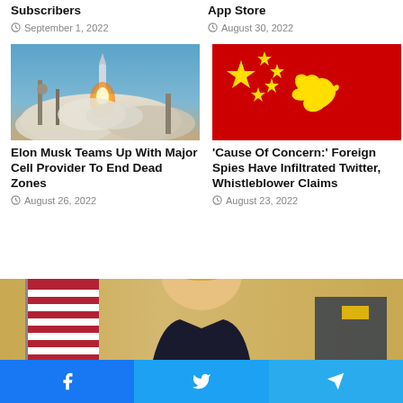Subscribers
September 1, 2022
App Store
August 30, 2022
[Figure (photo): Rocket launch with bright flame and smoke clouds at dusk]
Elon Musk Teams Up With Major Cell Provider To End Dead Zones
August 26, 2022
[Figure (illustration): Chinese flag (red with yellow stars) with a yellow Twitter bird logo overlaid]
'Cause Of Concern:' Foreign Spies Have Infiltrated Twitter, Whistleblower Claims
August 23, 2022
[Figure (photo): Partial photo of a person with blonde hair in front of an American flag, cropped at bottom of page]
Facebook  Twitter  Telegram